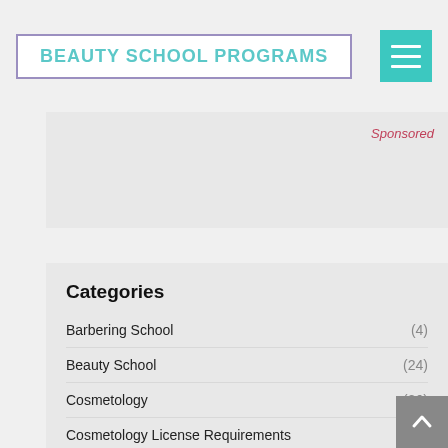BEAUTY SCHOOL PROGRAMS
Sponsored
Categories
Barbering School (4)
Beauty School (24)
Cosmetology (26)
Cosmetology License Requirements (7)
Esthetician (15)